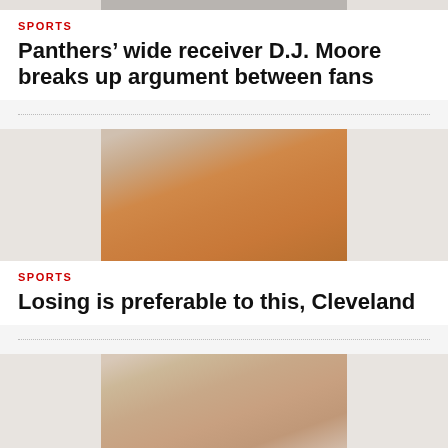[Figure (photo): Partial sports photo at top of page, cropped]
SPORTS
Panthers' wide receiver D.J. Moore breaks up argument between fans
[Figure (photo): Sports photo showing football player in orange jersey with towel over head]
SPORTS
Losing is preferable to this, Cleveland
[Figure (photo): Sports photo showing player in orange jersey with hand on head, partially visible]